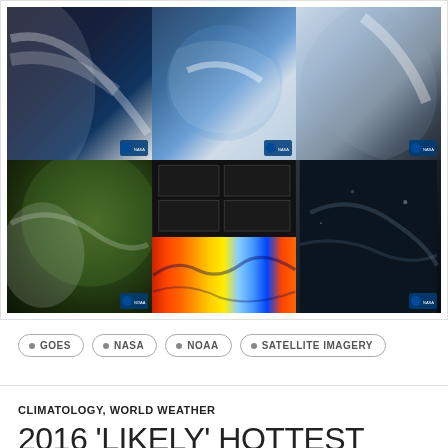[Figure (photo): Grid of 6 satellite imagery photographs showing Earth from space, including cloud formations, storm systems, and false-color infrared imagery. Images sourced from NOAA/NASA GOES satellite.]
GOES
NASA
NOAA
SATELLITE IMAGERY
CLIMATOLOGY, WORLD WEATHER
2016 'LIKELY' HOTTEST YEAR EVER: WMO